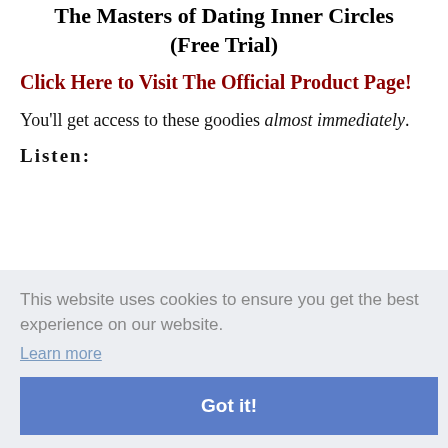The Masters of Dating Inner Circles (Free Trial)
Click Here to Visit The Official Product Page!
You'll get access to these goodies almost immediately.
Listen:
This website uses cookies to ensure you get the best experience on our website.
Learn more
Got it!
nt to
on,
concepts and examples to help you get